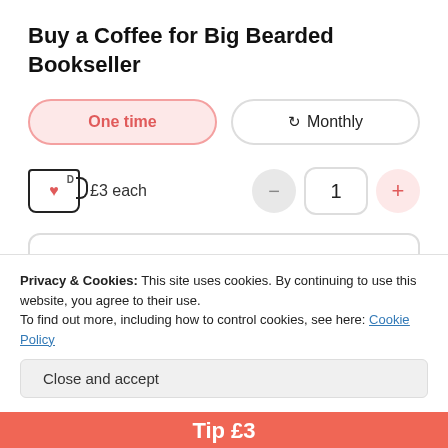Buy a Coffee for Big Bearded Bookseller
One time | Monthly (tabs)
£3 each, quantity: 1
£ 3
Your name or nickname
Privacy & Cookies: This site uses cookies. By continuing to use this website, you agree to their use.
To find out more, including how to control cookies, see here: Cookie Policy
Close and accept
Tip £3